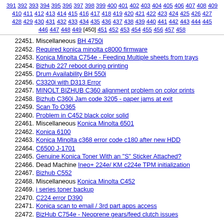391 392 393 394 395 396 397 398 399 400 401 402 403 404 405 406 407 408 409 410 411 412 413 414 415 416 417 418 419 420 421 422 423 424 425 426 427 428 429 430 431 432 433 434 435 436 437 438 439 440 441 442 443 444 445 446 447 448 449 [450] 451 452 453 454 455 456 457 458
22451. Miscellaneous BH 4750i
22452. Required konica minolta c8000 firmware
22453. Konica Minolta C754e - Feeding Multiple sheets from trays
22454. Bizhub 227 reboot during printing
22455. Drum Availability BH 550i
22456. C3320i with D313 Error
22457. MINOLT BIZHUB C360 alignment problem on color prints
22458. Bizhub C360i Jam code 3205 - paper jams at exit
22459. Scan To O365
22460. Problem in C452 black color solid
22461. Miscellaneous Konica Minolta 6501
22462. Konica 6100
22463. Konica Minolta c368 error code c180 after new HDD
22464. C6500 J-1701
22465. Genuine Konica Toner With an "S" Sticker Attached?
22466. Dead Machine Ineo+ 224e/ KM c224e TPM initialization
22467. Bizhub C552
22468. Miscellaneous Konica Minolta C452
22469. i series toner backup
22470. C224 error D390
22471. Konica scan to email / 3rd part apps access
22472. BizHub C754e - Neoprene gears/feed clutch issues